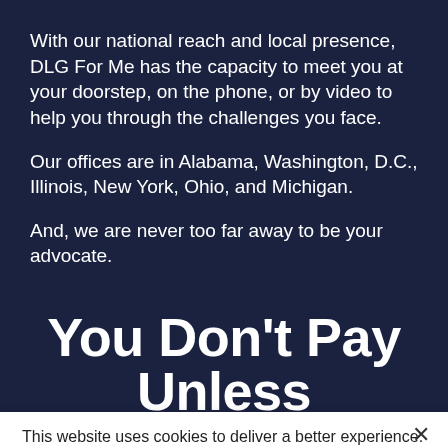With our national reach and local presence, DLG For Me has the capacity to meet you at your doorstep, on the phone, or by video to help you through the challenges you face.
Our offices are in Alabama, Washington, D.C., Illinois, New York, Ohio, and Michigan.
And, we are never too far away to be your advocate.
You Don't Pay Unless
This website uses cookies to deliver a better experience. By continuing on this website, you consent to our use of cookies. Learn More
Accept